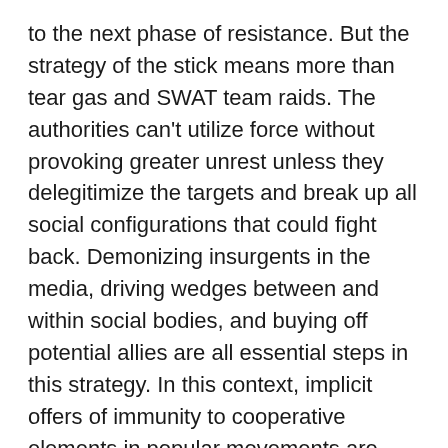to the next phase of resistance. But the strategy of the stick means more than tear gas and SWAT team raids. The authorities can't utilize force without provoking greater unrest unless they delegitimize the targets and break up all social configurations that could fight back. Demonizing insurgents in the media, driving wedges between and within social bodies, and buying off potential allies are all essential steps in this strategy. In this context, implicit offers of immunity to cooperative elements in popular movements are functionally identical to police violence, as they prepare the ground for it. Protesters who seek to distinguish themselves from the irrational and unruly are accepting complicity in everything that is done to the latter.¹
We can already see how this has played out in